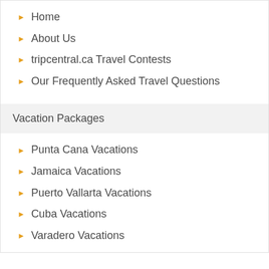Home
About Us
tripcentral.ca Travel Contests
Our Frequently Asked Travel Questions
Vacation Packages
Punta Cana Vacations
Jamaica Vacations
Puerto Vallarta Vacations
Cuba Vacations
Varadero Vacations